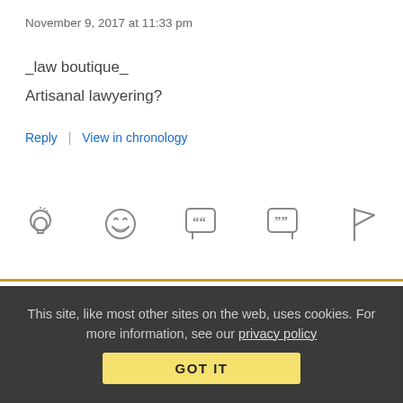November 9, 2017 at 11:33 pm
_law boutique_
Artisanal lawyering?
Reply | View in chronology
[Figure (other): Row of 5 icon buttons: lightbulb, laughing emoji, open-quote speech bubble, close-quote speech bubble, flag]
Anonymous Coward
This site, like most other sites on the web, uses cookies. For more information, see our privacy policy
GOT IT